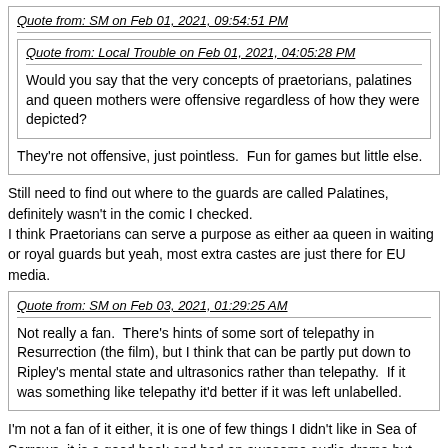Quote from: SM on Feb 01, 2021, 09:54:51 PM
Quote from: Local Trouble on Feb 01, 2021, 04:05:28 PM
Would you say that the very concepts of praetorians, palatines and queen mothers were offensive regardless of how they were depicted?
They're not offensive, just pointless.  Fun for games but little else.
Still need to find out where to the guards are called Palatines, definitely wasn't in the comic I checked.
I think Praetorians can serve a purpose as either aa queen in waiting or royal guards but yeah, most extra castes are just there for EU media.
Quote from: SM on Feb 03, 2021, 01:29:25 AM
Not really a fan.  There's hints of some sort of telepathy in Resurrection (the film), but I think that can be partly put down to Ripley's mental state and ultrasonics rather than telepathy.  If it was something like telepathy it'd better if it was left unlabelled.
I'm not a fan of it either, it is one of few things I didn't like in Sea of Sorrows, it is a good book and had an awesome audio drama but these supernatural aspects are so far removed from how Alien started